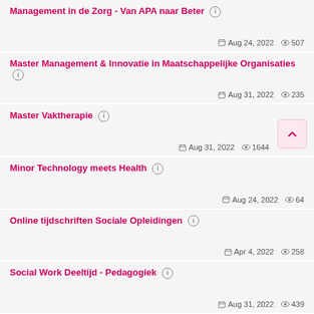Management in de Zorg - Van APA naar Beter  ℹ  Aug 24, 2022  👁 507
Master Management & Innovatie in Maatschappelijke Organisaties  ℹ  Aug 31, 2022  👁 235
Master Vaktherapie  ℹ  Aug 31, 2022  👁 1644
Minor Technology meets Health  ℹ  Aug 24, 2022  👁 64
Online tijdschriften Sociale Opleidingen  ℹ  Apr 4, 2022  👁 258
Social Work Deeltijd - Pedagogiek  ℹ  Aug 31, 2022  👁 439